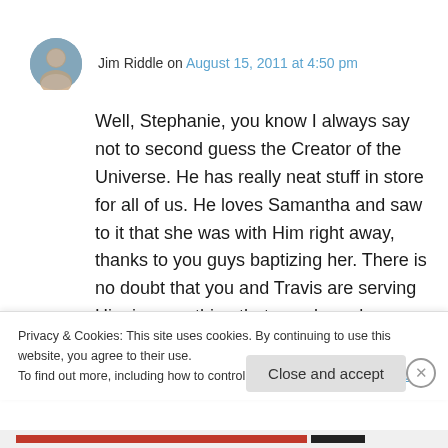Jim Riddle on August 15, 2011 at 4:50 pm
Well, Stephanie, you know I always say not to second guess the Creator of the Universe. He has really neat stuff in store for all of us. He loves Samantha and saw to it that she was with Him right away, thanks to you guys baptizing her. There is no doubt that you and Travis are serving Him in everything that you do and listening to His still, small voice as far as where
Privacy & Cookies: This site uses cookies. By continuing to use this website, you agree to their use.
To find out more, including how to control cookies, see here: Cookie Policy
Close and accept